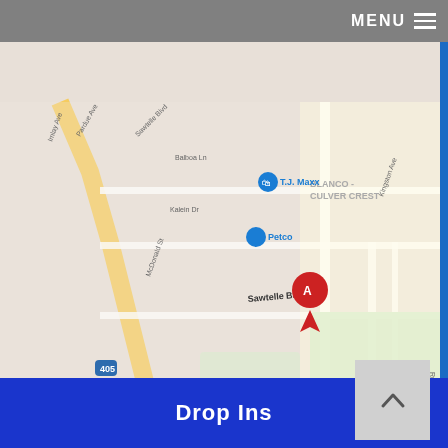MENU
[Figure (map): Google Maps screenshot showing Sawtelle Blvd area in Los Angeles/Culver City, CA. Visible landmarks include T.J. Maxx, Petco, El Marino Elementary School, Holy Cross Catholic Cemetery, FedEx Office Print & Ship Center, Dollar Tree, Sprouts Farmers Market, Trader Joe's, TikTok Inc, Chick-fil-A, Westfield Culver City, Best Buy. Freeways 405 and 90 (Marina Fwy) visible. Red pin marker labeled 'A' on Sawtelle Blvd. Map data ©2022 Google.]
Drop Ins